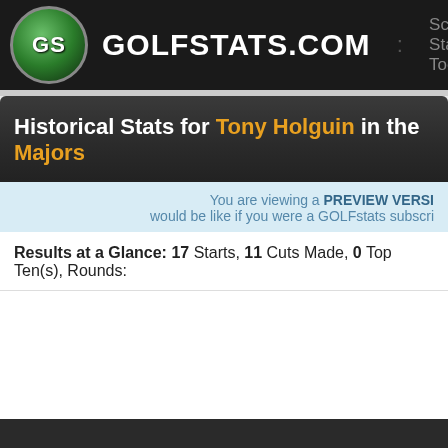GOLFSTATS.COM  Scores, Statistics, Tools
Historical Stats for Tony Holguin in the Majors
You are viewing a PREVIEW VERSION would be like if you were a GOLFstats subscriber
Results at a Glance: 17 Starts, 11 Cuts Made, 0 Top Ten(s), Rounds:
| Date | Finish | Tournament |
| --- | --- | --- |
| login or register |  | PGA Championship, Tulsa, OK
Southern Hills C.C., 6,962 Yards, Par 70 |